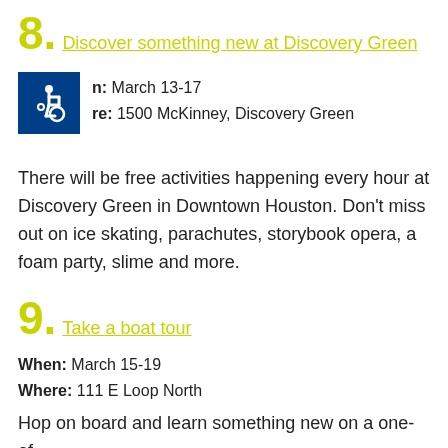8. Discover something new at Discovery Green
[Figure (illustration): Wheelchair accessibility icon — white wheelchair symbol on blue square background]
When: March 13-17
Where: 1500 McKinney, Discovery Green
There will be free activities happening every hour at Discovery Green in Downtown Houston. Don’t miss out on ice skating, parachutes, storybook opera, a foam party, slime and more.
9. Take a boat tour
When: March 15-19
Where: 111 E Loop North
Hop on board and learn something new on a one-of-